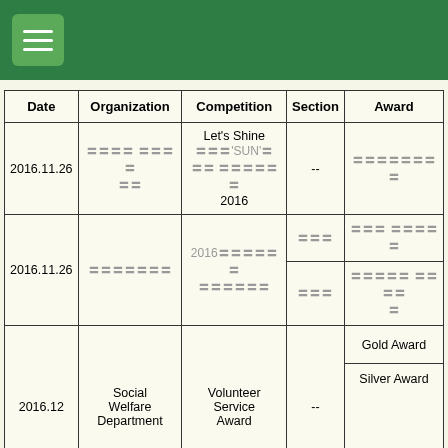Navigation menu header bar
| Date | Organization | Competition | Section | Award |
| --- | --- | --- | --- | --- |
| 2016.11.26 | 〓〓〓〓 〓〓〓〓 〓〓 | Let's Shine 〓〓〓'SUN'〓 〓〓 〓〓〓〓〓〓 2016 | -- | 〓〓〓〓〓〓〓〓 |
| 2016.11.26 | 〓〓〓〓〓〓〓 | 2016〓〓〓〓〓 〓〓〓〓〓〓 | 〓〓〓 | 〓〓〓 〓〓〓〓〓 |
|  |  |  | 〓〓〓 | 〓〓〓〓〓 〓〓〓〓 〓 |
| 2016.12 | Social Welfare Department | Volunteer Service Award | -- | Gold Award |
|  |  |  |  | Silver Award |